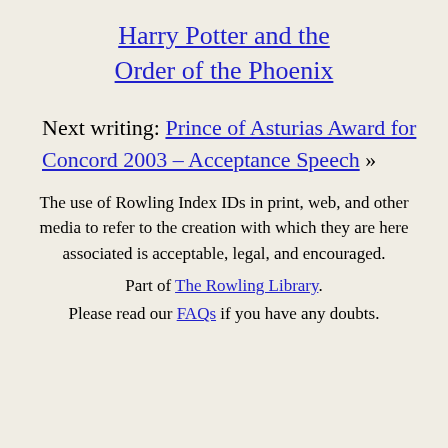Harry Potter and the Order of the Phoenix
Next writing: Prince of Asturias Award for Concord 2003 – Acceptance Speech »
The use of Rowling Index IDs in print, web, and other media to refer to the creation with which they are here associated is acceptable, legal, and encouraged.
Part of The Rowling Library.
Please read our FAQs if you have any doubts.